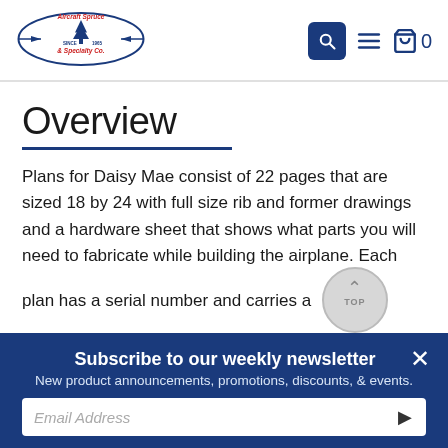[Figure (logo): Aircraft Spruce & Specialty Co. logo with airplane and tree, red and blue text, 'Since 1965']
Overview
Plans for Daisy Mae consist of 22 pages that are sized 18 by 24 with full size rib and former drawings and a hardware sheet that shows what parts you will need to fabricate while building the airplane. Each plan has a serial number and carries a copyright. Each page is dimensioned so that you will know the exact size of everything you need to
Subscribe to our weekly newsletter
New product announcements, promotions, discounts, & events.